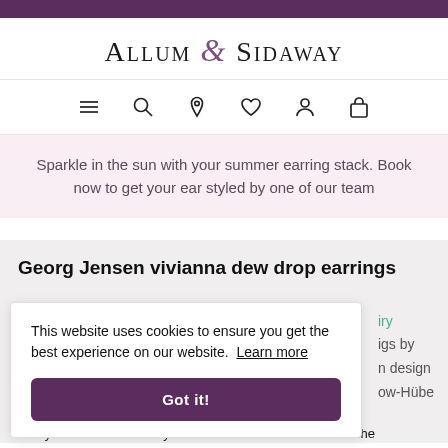Allum & Sidaway
[Figure (other): Navigation icons: hamburger menu, search, location pin, heart/wishlist, account, shopping bag]
Sparkle in the sun with your summer earring stack. Book now to get your ear styled by one of our team
Georg Jensen vivianna dew drop earrings
This website uses cookies to ensure you get the best experience on our website. Learn more
Got it!
always allows functionality to feature in her work and here she